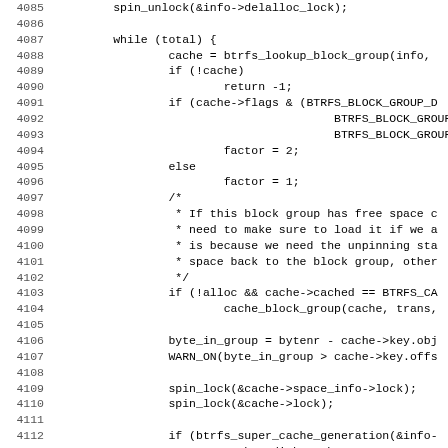[Figure (screenshot): Source code listing (C/kernel code) with line numbers 4085-4116, showing a while loop with block group cache handling logic including spin_lock, btrfs_lookup_block_group, cache flags checks, factor assignment, comments about free space, cache_block_group call, byte_in_group calculations, spin_lock calls, and disk_cache_state conditionals.]